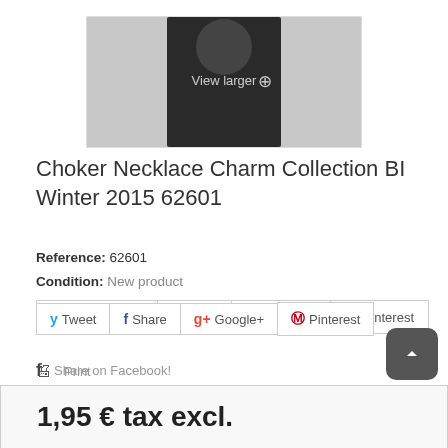[Figure (photo): Product image of Choker Necklace with 'View larger' overlay and magnifying glass icon]
Choker Necklace Charm Collection BI Winter 2015 62601
Reference: 62601
Condition: New product
Tweet | Share | Google+ | Pinterest
Share on Facebook!
Download this product as PDF
Add to catalog
Print
1,95 € tax excl.